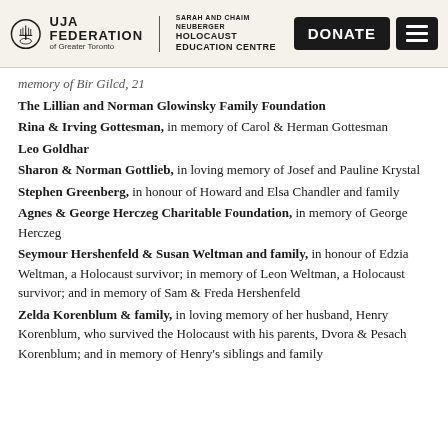UJA FEDERATION of Greater Toronto | SARAH AND CHAIM NEUBERGER HOLOCAUST EDUCATION CENTRE
memory of Bir Gilcd, 21
The Lillian and Norman Glowinsky Family Foundation
Rina & Irving Gottesman, in memory of Carol & Herman Gottesman
Leo Goldhar
Sharon & Norman Gottlieb, in loving memory of Josef and Pauline Krystal
Stephen Greenberg, in honour of Howard and Elsa Chandler and family
Agnes & George Herczeg Charitable Foundation, in memory of George Herczeg
Seymour Hershenfeld & Susan Weltman and family, in honour of Edzia Weltman, a Holocaust survivor; in memory of Leon Weltman, a Holocaust survivor; and in memory of Sam & Freda Hershenfeld
Zelda Korenblum & family, in loving memory of her husband, Henry Korenblum, who survived the Holocaust with his parents, Dvora & Pesach Korenblum; and in memory of Henry's siblings and family